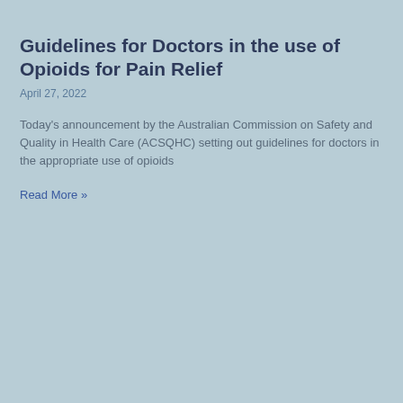Guidelines for Doctors in the use of Opioids for Pain Relief
April 27, 2022
Today's announcement by the Australian Commission on Safety and Quality in Health Care (ACSQHC) setting out guidelines for doctors in the appropriate use of opioids
Read More »